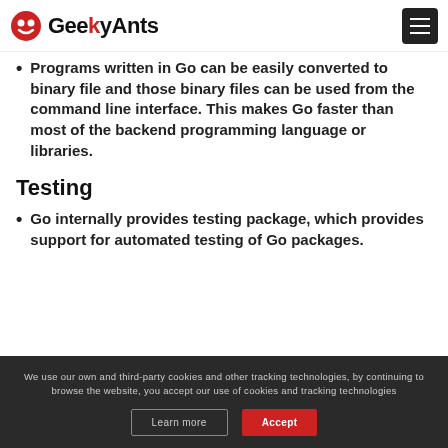GeekyAnts
Programs written in Go can be easily converted to binary file and those binary files can be used from the command line interface. This makes Go faster than most of the backend programming language or libraries.
Testing
Go internally provides testing package, which provides support for automated testing of Go packages.
We use our own and third-party cookies and other tracking technologies, by continuing to browse the website, you accept our use of cookies and tracking technologies
Accept
Learn more